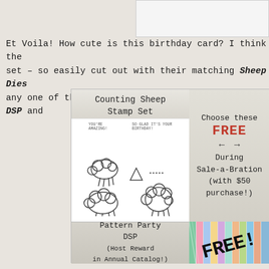[Figure (photo): Top right corner white card or envelope on textured background]
Et Voila!  How cute is this birthday card?  I think the set – so easily cut out with their matching Sheep Dies any one of the fun designs in the Pattern Party DSP and
[Figure (infographic): Counting Sheep Stamp Set product image with sheep stamps and Choose these FREE During Sale-a-Bration (with $50 purchase!) callout]
[Figure (infographic): Pattern Party DSP (Host Reward in Annual Catalog!) with colorful patterned papers and FREE! text stamp]